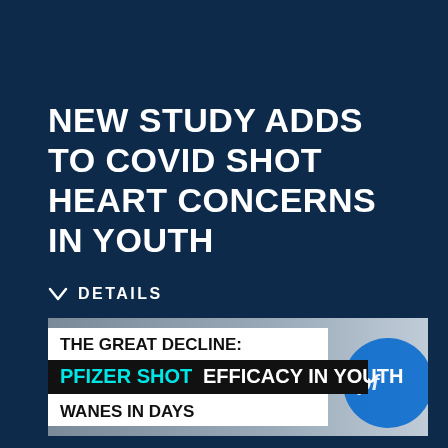NEW STUDY ADDS TO COVID SHOT HEART CONCERNS IN YOUTH
DETAILS
[Figure (screenshot): News broadcast graphic reading 'THE GREAT DECLINE: PFIZER SHOT EFFICACY IN YOUTH WANES IN DAYS' with Pfizer logo visible on the right side]